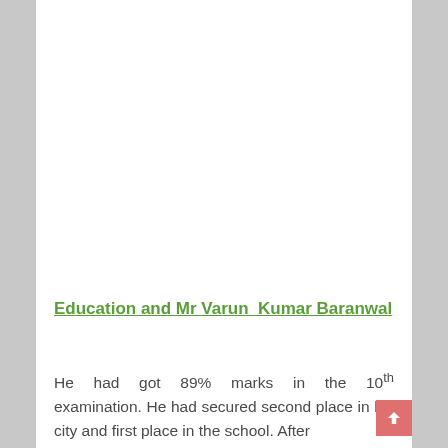Education and Mr Varun  Kumar Baranwal
He had got 89% marks in the 10th examination. He had secured second place in his city and first place in the school. After